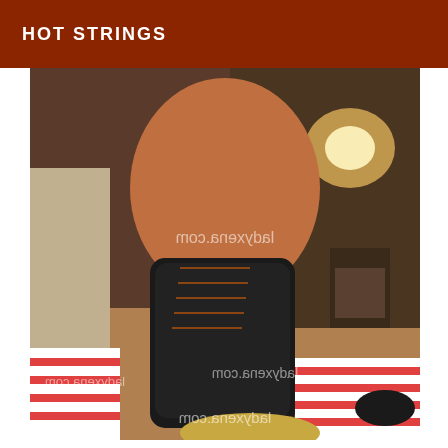HOT STRINGS
[Figure (photo): Close-up indoor photo showing legs wearing red and white striped stockings and black high-heeled lace-up boots, taken from a low angle. Watermarks reading 'ladyxena.com' appear multiple times in mirror-reversed text across the image.]